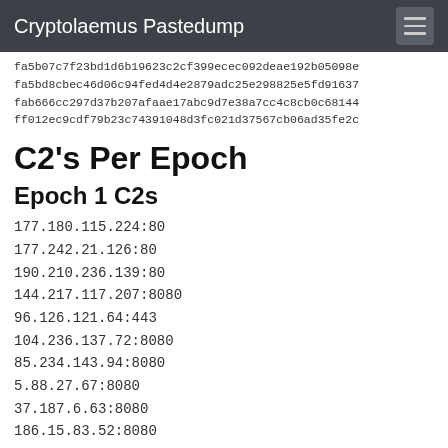Cryptolaemus Pastedump
fa5b07c7f23bd1d6b19623c2cf399ecec092deae192b05098e
fa5bd8cbec46d06c94fed4d4e2879adc25e298825e5fd91637
fab666cc297d37b207afaae17abc9d7e38a7cc4c8cb0c68144
ff012ec9cdf79b23c74391048d3fc021d37567cb06ad35fe2c
C2's Per Epoch
Epoch 1 C2s
177.180.115.224:80
177.242.21.126:80
190.210.236.139:80
144.217.117.207:8080
96.126.121.64:443
104.236.137.72:8080
85.234.143.94:8080
5.88.27.67:8080
37.187.6.63:8080
186.15.83.52:8080
201.213.32.59:80